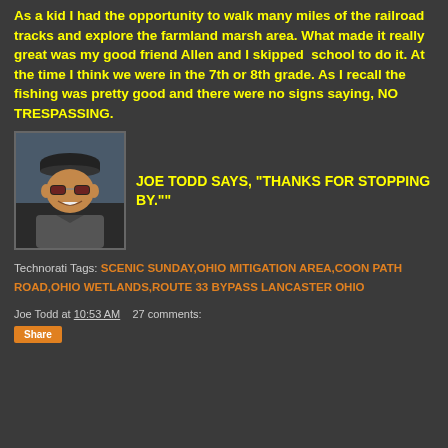As a kid I had the opportunity to walk many miles of the railroad tracks and explore the farmland marsh area. What made it really great was my good friend Allen and I skipped  school to do it. At the time I think we were in the 7th or 8th grade. As I recall the fishing was pretty good and there were no signs saying, NO TRESPASSING.
[Figure (photo): Photo of Joe Todd, a middle-aged man wearing sunglasses and a cap, smiling]
JOE TODD SAYS, “THANKS FOR STOPPING BY.””
Technorati Tags: SCENIC SUNDAY,OHIO MITIGATION AREA,COON PATH ROAD,OHIO WETLANDS,ROUTE 33 BYPASS LANCASTER OHIO
Joe Todd at 10:53 AM   27 comments: